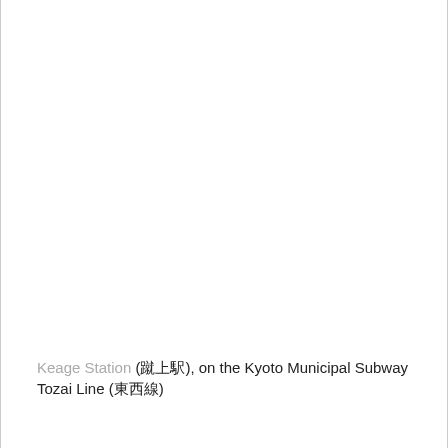Keage Station (蹴上駅), on the Kyoto Municipal Subway Tozai Line (東西線)